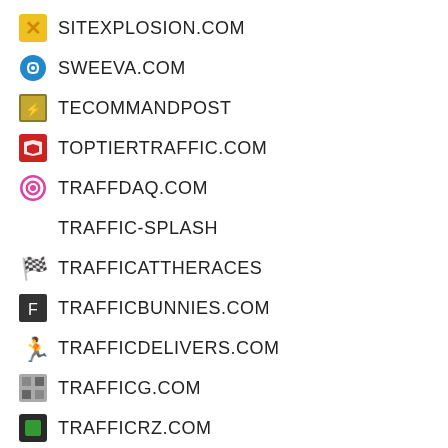SITEXPLOSION.COM
SWEEVA.COM
TECOMMANDPOST
TOPTIERTRAFFIC.COM
TRAFFDAQ.COM
TRAFFIC-SPLASH
TRAFFICATTHERACES
TRAFFICBUNNIES.COM
TRAFFICDELIVERS.COM
TRAFFICG.COM
TRAFFICRZ.COM
TRAFFICSWARM.COM
TRAFFICSWIRL.COM
TRAFFUP.COM